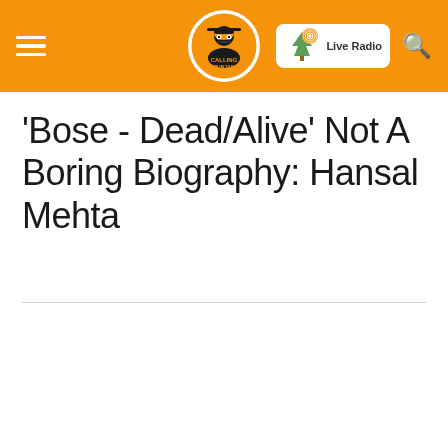Calling Punjab - Live Radio
'Bose - Dead/Alive' Not A Boring Biography: Hansal Mehta